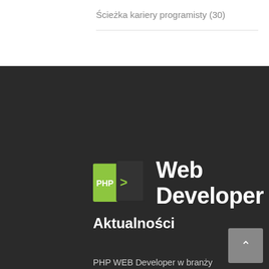Ścieżka kariery programisty (30)
[Figure (logo): PHP Web Developer logo with green PHP icon and white text 'Web Developer']
Aktualności
PHP WEB Developer w branży medycznej
Nowe wyzwania na stanowisku PHP web developera
Prognozy dla PHP web developerów na 2019 rok